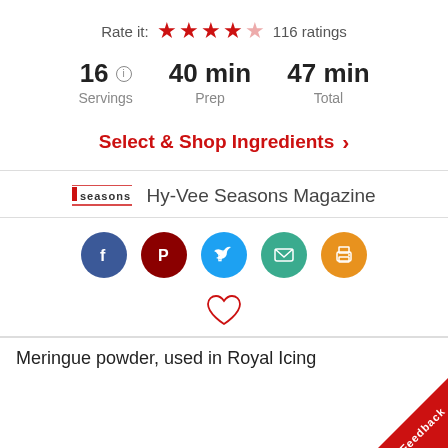Rate it: ★★★★☆ 116 ratings
16 ⓘ Servings   40 min Prep   47 min Total
Select & Shop Ingredients ›
[Figure (logo): Seasons magazine logo]
Hy-Vee Seasons Magazine
[Figure (infographic): Social sharing buttons: Facebook, Pinterest, Twitter, Email, Print]
[Figure (illustration): Heart/favorite icon outline]
Meringue powder, used in Royal Icing